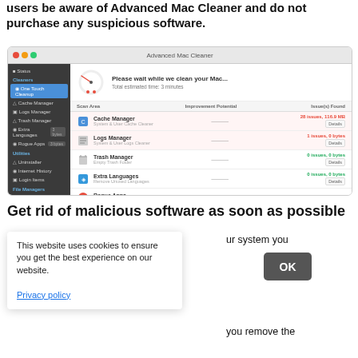users be aware of Advanced Mac Cleaner and do not purchase any suspicious software.
[Figure (screenshot): Screenshot of Advanced Mac Cleaner application showing a cleaning progress screen with sidebar navigation and scan results for Cache Manager, Logs Manager, Trash Manager, Extra Languages, and Rogue Apps.]
Get rid of malicious software as soon as possible
This website uses cookies to ensure you get the best experience on our website.
Privacy policy
OK
ur system you
you remove the